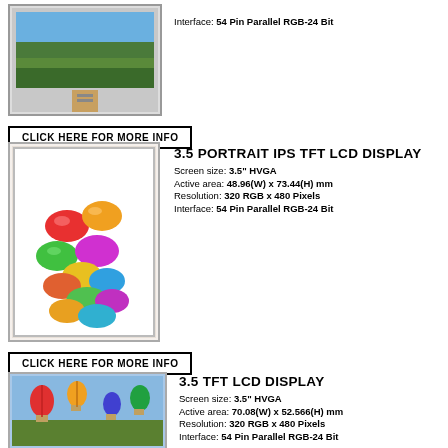Interface: 54 Pin Parallel RGB-24 Bit
[Figure (photo): 7-inch landscape TFT LCD display module with connector ribbon]
CLICK HERE FOR MORE INFO
3.5 PORTRAIT IPS TFT LCD DISPLAY
Screen size: 3.5" HVGA
Active area: 48.96(W) x 73.44(H) mm
Resolution: 320 RGB x 480 Pixels
Interface: 54 Pin Parallel RGB-24 Bit
[Figure (photo): 3.5-inch portrait IPS TFT LCD display showing colorful jelly beans]
CLICK HERE FOR MORE INFO
3.5 TFT LCD DISPLAY
Screen size: 3.5" HVGA
Active area: 70.08(W) x 52.566(H) mm
Resolution: 320 RGB x 480 Pixels
Interface: 54 Pin Parallel RGB-24 Bit
[Figure (photo): 3.5-inch TFT LCD display showing hot air balloons in sky]